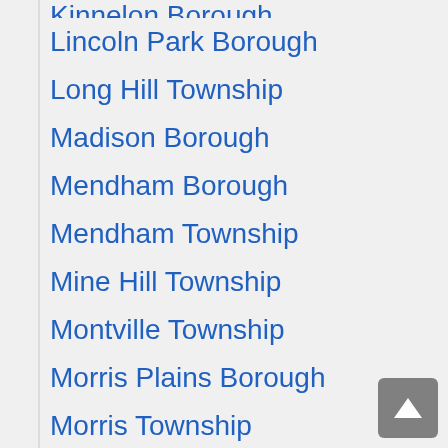Kinnelon Borough
Lincoln Park Borough
Long Hill Township
Madison Borough
Mendham Borough
Mendham Township
Mine Hill Township
Montville Township
Morris Plains Borough
Morris Township
Morristown Town
Mount Arlington Borough
Mount Olive Township
Mountain Lakes Borough